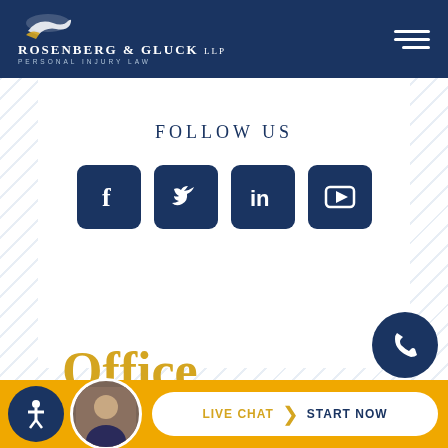[Figure (logo): Rosenberg & Gluck LLP Personal Injury Law logo in white on dark navy header, with silhouette graphic of a person above the text]
FOLLOW US
[Figure (infographic): Four dark navy social media icon buttons: Facebook (f), Twitter (bird), LinkedIn (in), YouTube (play button)]
Office Locations
LIVE CHAT  START NOW